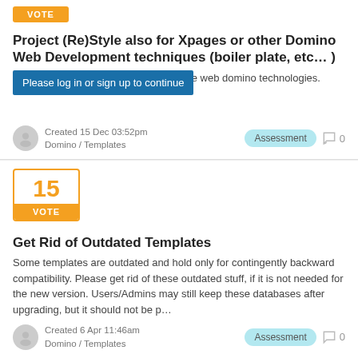[Figure (other): Orange VOTE button badge]
Project (Re)Style also for Xpages or other Domino Web Development techniques (boiler plate, etc… )
We need pre built template also for pure web domino technologies.
Please log in or sign up to continue
Created 15 Dec 03:52pm
Domino / Templates
Assessment   0
[Figure (other): Vote box with number 15 and orange VOTE label]
Get Rid of Outdated Templates
Some templates are outdated and hold only for contingently backward compatibility. Please get rid of these outdated stuff, if it is not needed for the new version. Users/Admins may still keep these databases after upgrading, but it should not be p…
Created 6 Apr 11:46am
Domino / Templates
Assessment   0